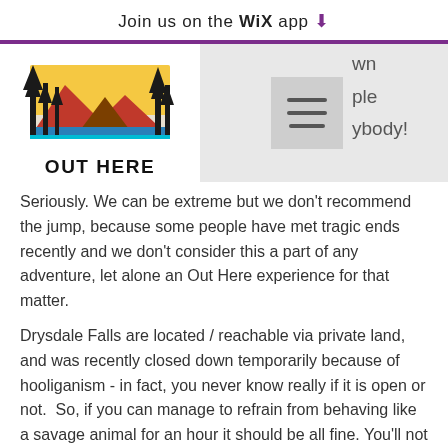Join us on the WiX app ⬇
[Figure (logo): Out Here logo: silhouette of trees and mountains with colorful sunset, text OUT HERE below]
Seriously. We can be extreme but we don't recommend the jump, because some people have met tragic ends recently and we don't consider this a part of any adventure, let alone an Out Here experience for that matter.
Drysdale Falls are located / reachable via private land, and was recently closed down temporarily because of hooliganism - in fact, you never know really if it is open or not.  So, if you can manage to refrain from behaving like a savage animal for an hour it should be all fine. You'll not to will review for that the